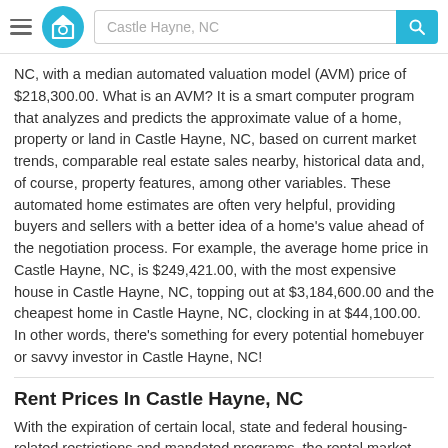Castle Hayne, NC
NC, with a median automated valuation model (AVM) price of $218,300.00. What is an AVM? It is a smart computer program that analyzes and predicts the approximate value of a home, property or land in Castle Hayne, NC, based on current market trends, comparable real estate sales nearby, historical data and, of course, property features, among other variables. These automated home estimates are often very helpful, providing buyers and sellers with a better idea of a home's value ahead of the negotiation process. For example, the average home price in Castle Hayne, NC, is $249,421.00, with the most expensive house in Castle Hayne, NC, topping out at $3,184,600.00 and the cheapest home in Castle Hayne, NC, clocking in at $44,100.00. In other words, there's something for every potential homebuyer or savvy investor in Castle Hayne, NC!
Rent Prices In Castle Hayne, NC
With the expiration of certain local, state and federal housing-related restrictions and mandated programs, the rental market